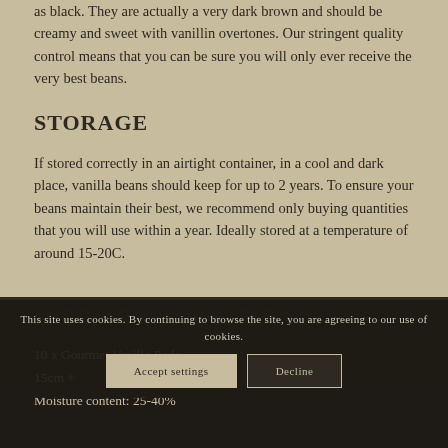as black. They are actually a very dark brown and should be creamy and sweet with vanillin overtones. Our stringent quality control means that you can be sure you will only ever receive the very best beans.
STORAGE
If stored correctly in an airtight container, in a cool and dark place, vanilla beans should keep for up to 2 years. To ensure your beans maintain their best, we recommend only buying quantities that you will use within a year. Ideally stored at a temperature of around 15-20C.
PRODUCT INFORMATION
10 x Gourmet Vanilla Pods
15cm +
Moisture content: 25-40%
This site uses cookies. By continuing to browse the site, you are agreeing to our use of cookies.